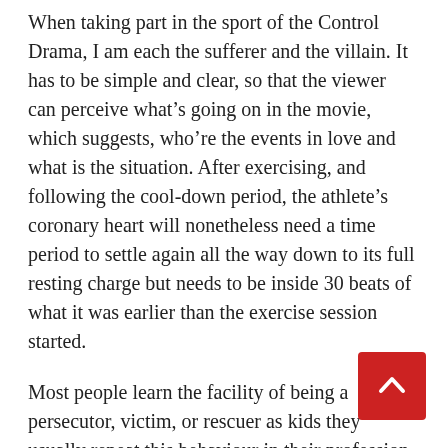When taking part in the sport of the Control Drama, I am each the sufferer and the villain. It has to be simple and clear, so that the viewer can perceive what’s going on in the movie, which suggests, who’re the events in love and what is the situation. After exercising, and following the cool-down period, the athlete’s coronary heart will nonetheless need a time period to settle again all the way down to its full resting charge but needs to be inside 30 beats of what it was earlier than the exercise session started.
Most people learn the facility of being a persecutor, victim, or rescuer as kids they usually repeat this behaviour in their profession without being aware of it. As an government, if you interact in this behaviour or